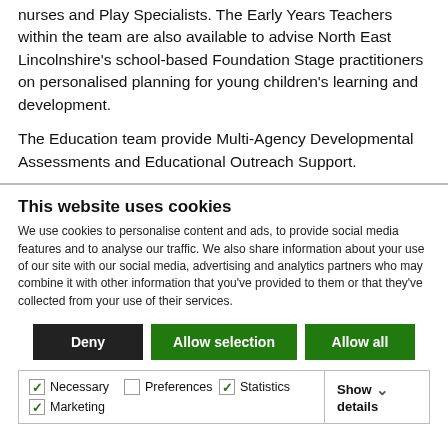nurses and Play Specialists. The Early Years Teachers within the team are also available to advise North East Lincolnshire's school-based Foundation Stage practitioners on personalised planning for young children's learning and development.
The Education team provide Multi-Agency Developmental Assessments and Educational Outreach Support.
This website uses cookies
We use cookies to personalise content and ads, to provide social media features and to analyse our traffic. We also share information about your use of our site with our social media, advertising and analytics partners who may combine it with other information that you've provided to them or that they've collected from your use of their services.
Deny | Allow selection | Allow all
Necessary (checked), Preferences (unchecked), Statistics (checked), Marketing (checked), Show details